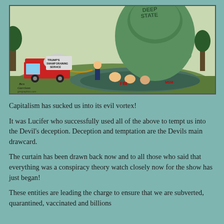[Figure (illustration): Political cartoon by Ben Garrison showing a figure with a truck labeled 'Trump's Swamp Draining Service' spraying a hose at a large green monster labeled 'Deep State' rising from a swamp with various political figures' faces visible in the water, including references to FBI and MSM.]
Capitalism has sucked us into its evil vortex!
It was Lucifer who successfully used all of the above to tempt us into the Devil's deception. Deception and temptation are the Devils main drawcard.
The curtain has been drawn back now and to all those who said that everything was a conspiracy theory watch closely now for the show has just began!
These entities are leading the charge to ensure that we are subverted, quarantined, vaccinated and billions